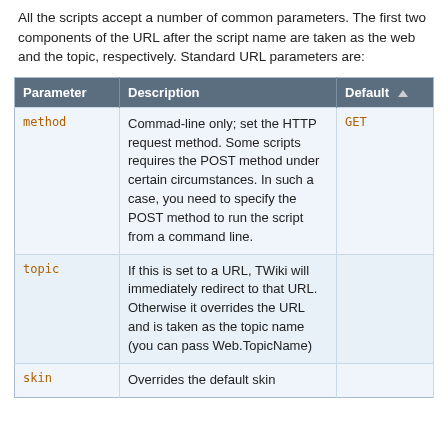All the scripts accept a number of common parameters. The first two components of the URL after the script name are taken as the web and the topic, respectively. Standard URL parameters are:
| Parameter | Description | Default ▲ |
| --- | --- | --- |
| method | Commad-line only; set the HTTP request method. Some scripts requires the POST method under certain circumstances. In such a case, you need to specify the POST method to run the script from a command line. | GET |
| topic | If this is set to a URL, TWiki will immediately redirect to that URL. Otherwise it overrides the URL and is taken as the topic name (you can pass Web.TopicName) |  |
| skin | Overrides the default skin |  |